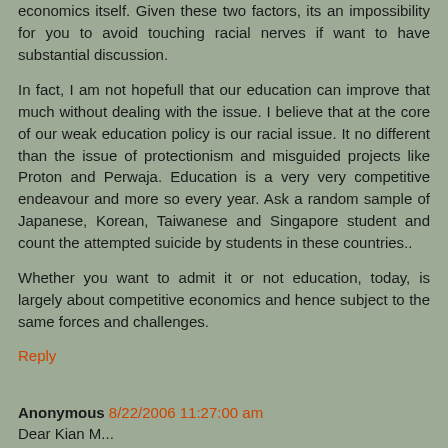economics itself. Given these two factors, its an impossibility for you to avoid touching racial nerves if want to have substantial discussion.
In fact, I am not hopefull that our education can improve that much without dealing with the issue. I believe that at the core of our weak education policy is our racial issue. It no different than the issue of protectionism and misguided projects like Proton and Perwaja. Education is a very very competitive endeavour and more so every year. Ask a random sample of Japanese, Korean, Taiwanese and Singapore student and count the attempted suicide by students in these countries..
Whether you want to admit it or not education, today, is largely about competitive economics and hence subject to the same forces and challenges.
Reply
Anonymous 8/22/2006 11:27:00 am
Dear Kian M...